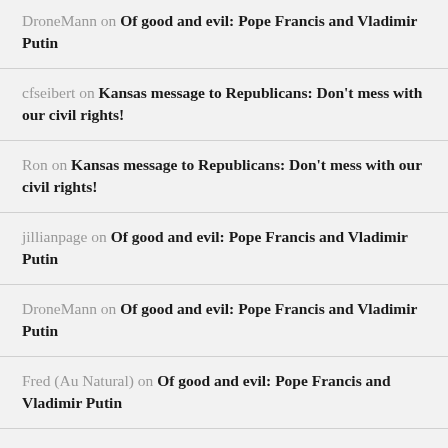DroneMann on Of good and evil: Pope Francis and Vladimir Putin
cfseibert on Kansas message to Republicans: Don't mess with our civil rights!
Ron on Kansas message to Republicans: Don't mess with our civil rights!
jillianpage on Of good and evil: Pope Francis and Vladimir Putin
DroneMann on Of good and evil: Pope Francis and Vladimir Putin
Fred (Au Natural) on Of good and evil: Pope Francis and Vladimir Putin
jillianpage on Of good and evil: Pope Francis and Vladimir Putin